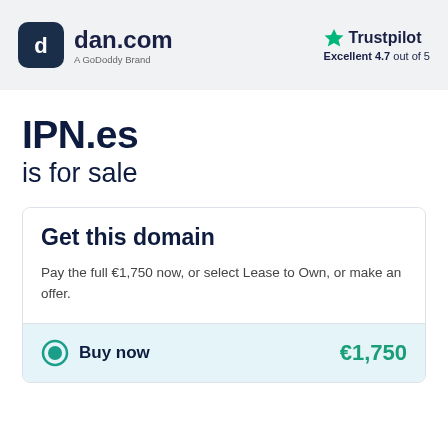[Figure (logo): dan.com logo - dark rounded square icon with letter d, followed by dan.com text and 'A GoDoddy Brand' subtitle]
[Figure (logo): Trustpilot logo with green star and text 'Trustpilot', rating 'Excellent 4.7 out of 5']
IPN.es
is for sale
Get this domain
Pay the full €1,750 now, or select Lease to Own, or make an offer.
Buy now €1,750